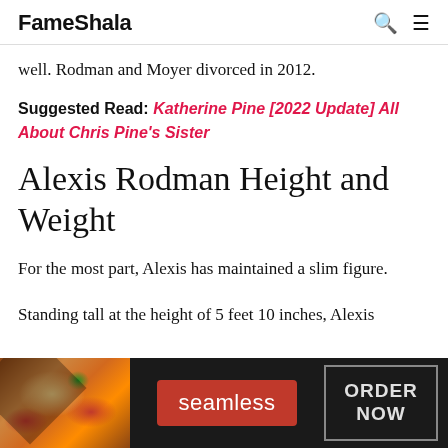FameShala
well. Rodman and Moyer divorced in 2012.
Suggested Read: Katherine Pine [2022 Update] All About Chris Pine's Sister
Alexis Rodman Height and Weight
For the most part, Alexis has maintained a slim figure.
Standing tall at the height of 5 feet 10 inches, Alexis
[Figure (other): Seamless food delivery advertisement banner with pizza image, red Seamless logo button, and ORDER NOW text in a dark background]